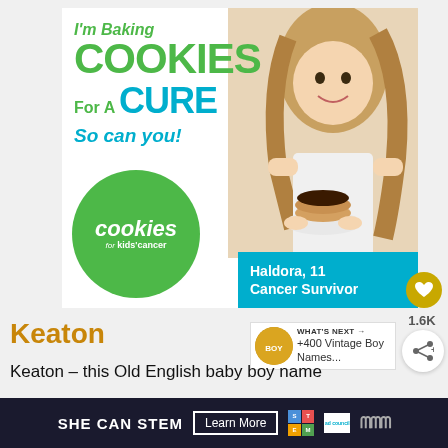[Figure (illustration): Advertisement for 'Cookies for Kids' Cancer' charity. Shows a young blonde girl holding a plate of cookies. Text reads: I'm Baking COOKIES For A CURE So can you! with the Cookies for Kids' Cancer logo in a green circle. A teal banner reads: Haldora, 11 Cancer Survivor.]
Keaton
Keaton – this Old English baby boy name
[Figure (infographic): WHAT'S NEXT → +400 Vintage Boy Names... promotional widget with circular thumbnail]
[Figure (illustration): Bottom banner ad: SHE CAN STEM | Learn More button | STEM grid logo | Ad Council logo | Meredith logo]